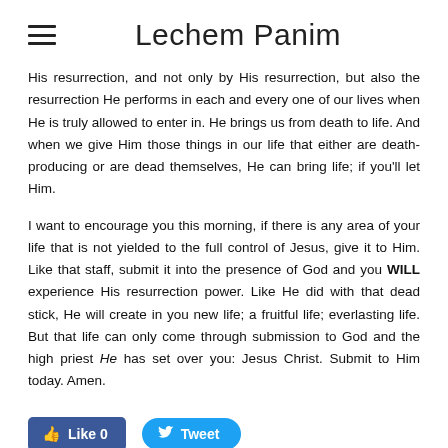Lechem Panim
His resurrection, and not only by His resurrection, but also the resurrection He performs in each and every one of our lives when He is truly allowed to enter in. He brings us from death to life. And when we give Him those things in our life that either are death-producing or are dead themselves, He can bring life; if you’ll let Him.
I want to encourage you this morning, if there is any area of your life that is not yielded to the full control of Jesus, give it to Him. Like that staff, submit it into the presence of God and you WILL experience His resurrection power. Like He did with that dead stick, He will create in you new life; a fruitful life; everlasting life. But that life can only come through submission to God and the high priest He has set over you: Jesus Christ. Submit to Him today. Amen.
[Figure (other): Facebook Like button showing Like 0 and Twitter Tweet button]
0 Comments